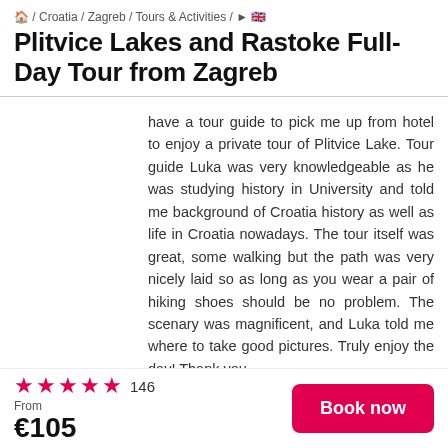/ Croatia / Zagreb / Tours & Activities / ► 🇬🇧
Plitvice Lakes and Rastoke Full-Day Tour from Zagreb
have a tour guide to pick me up from hotel to enjoy a private tour of Plitvice Lake. Tour guide Luka was very knowledgeable as he was studying history in University and told me background of Croatia history as well as life in Croatia nowadays. The tour itself was great, some walking but the path was very nicely laid so as long as you wear a pair of hiking shoes should be no problem. The scenary was magnificent, and Luka told me where to take good pictures. Truly enjoy the day! Thank you.
Terry A
★★★★★ 5 | 2018-07-09
On the day it was raining but our guide couldnt do enough
★★★★★ 146
From
€105
Book now